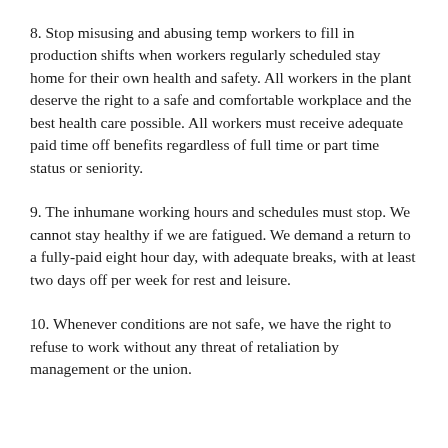8. Stop misusing and abusing temp workers to fill in production shifts when workers regularly scheduled stay home for their own health and safety. All workers in the plant deserve the right to a safe and comfortable workplace and the best health care possible. All workers must receive adequate paid time off benefits regardless of full time or part time status or seniority.
9. The inhumane working hours and schedules must stop. We cannot stay healthy if we are fatigued. We demand a return to a fully-paid eight hour day, with adequate breaks, with at least two days off per week for rest and leisure.
10. Whenever conditions are not safe, we have the right to refuse to work without any threat of retaliation by management or the union.